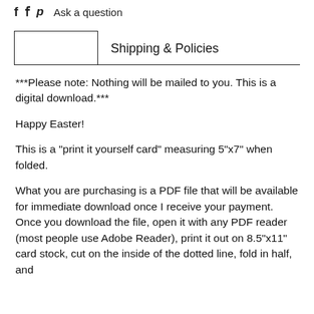Ask a question
Shipping & Policies
***Please note: Nothing will be mailed to you. This is a digital download.***
Happy Easter!
This is a "print it yourself card" measuring 5"x7" when folded.
What you are purchasing is a PDF file that will be available for immediate download once I receive your payment. Once you download the file, open it with any PDF reader (most people use Adobe Reader), print it out on 8.5"x11" card stock, cut on the inside of the dotted line, fold in half, and